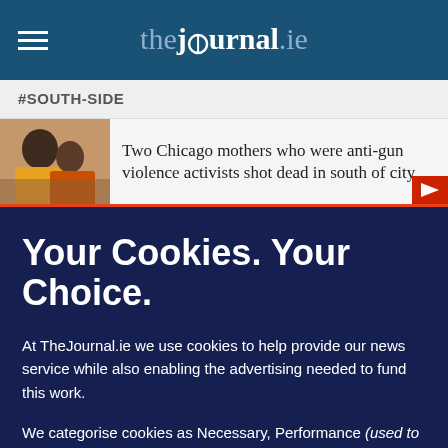thejournal.ie
#SOUTH-SIDE
Two Chicago mothers who were anti-gun violence activists shot dead in south of city
Your Cookies. Your Choice.
At TheJournal.ie we use cookies to help provide our news service while also enabling the advertising needed to fund this work.
We categorise cookies as Necessary, Performance (used to analyse the site performance) and Targeting (used to target advertising which helps us keep this service free).
You can choose to 'accept all' cookies below or to only opt in to what you are happy to accept using 'manage cookies'. You can also change your cookie settings at any